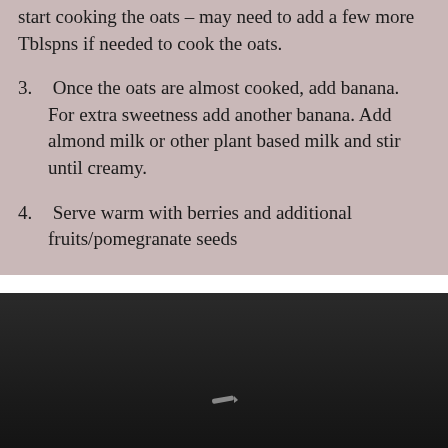start cooking the oats – may need to add a few more Tblspns if needed to cook the oats.
3. Once the oats are almost cooked, add banana. For extra sweetness add another banana. Add almond milk or other plant based milk and stir until creamy.
4. Serve warm with berries and additional fruits/pomegranate seeds
[Figure (screenshot): Embedded video player showing a dark/black video frame with a pencil icon visible, controls bar with play button showing 0:00 timestamp, volume icon, fullscreen icon, and more options icon, with a progress bar at the bottom.]